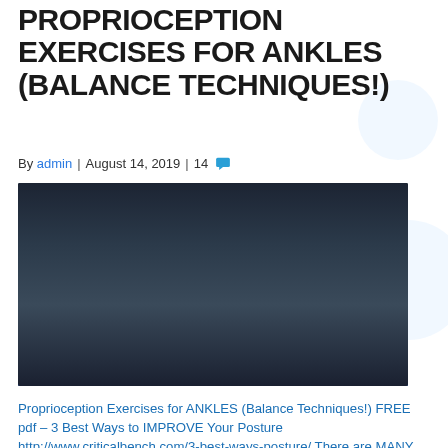PROPRIOCEPTION EXERCISES FOR ANKLES (BALANCE TECHNIQUES!)
By admin | August 14, 2019 | 14
[Figure (photo): Person standing barefoot on a circular wooden balance board on a blue mat, with red bold italic text overlay reading 'STRONGER ANKLES!']
Proprioception Exercises for ANKLES (Balance Techniques!) FREE pdf – 3 Best Ways to IMPROVE Your Posture http://www.criticalbench.com/3-best-ways-posture/ There are MANY proprioception exercises you can use to help strengthen the ankles and lower legs, these are just some of them. Proprioception is a fancy word for body awareness for various parts of the body. This video…